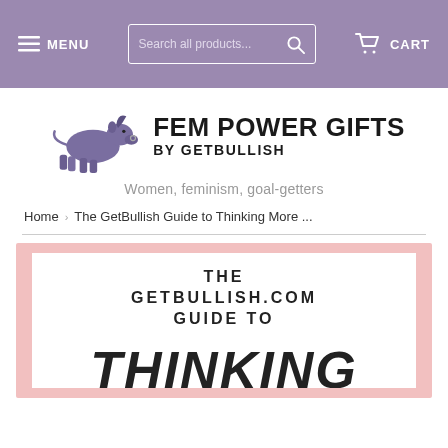MENU  Search all products...  CART
[Figure (logo): Purple bull logo for Fem Power Gifts by GetBullish]
FEM POWER GIFTS BY GETBULLISH
Women, feminism, goal-getters
Home › The GetBullish Guide to Thinking More ...
[Figure (illustration): Book/product cover with pink background and white inner box. Text reads: THE GETBULLISH.COM GUIDE TO THINKING (large italic text cut off at bottom)]